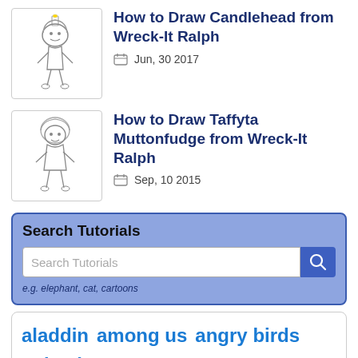[Figure (illustration): Sketch drawing of Candlehead character from Wreck-It Ralph]
How to Draw Candlehead from Wreck-It Ralph
Jun, 30 2017
[Figure (illustration): Sketch drawing of Taffyta Muttonfudge character from Wreck-It Ralph]
How to Draw Taffyta Muttonfudge from Wreck-It Ralph
Sep, 10 2015
Search Tutorials
Search Tutorials (input field)
e.g. elephant, cat, cartoons
aladdin   among us   angry birds   animals   anime   anime girl   arcanine   asta   avatar   avengers   baby princess   beyonce   bleach   bubble guppies   captain   america   cars   cartoon   cartoons   craig   creepypasta